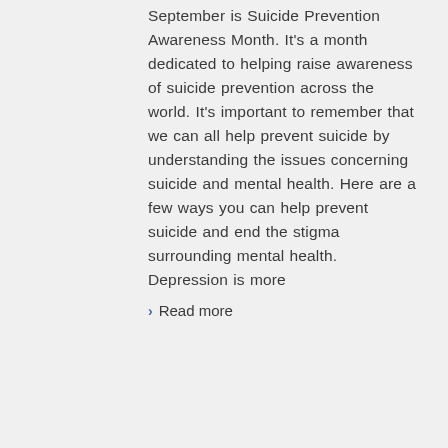September is Suicide Prevention Awareness Month. It's a month dedicated to helping raise awareness of suicide prevention across the world. It's important to remember that we can all help prevent suicide by understanding the issues concerning suicide and mental health. Here are a few ways you can help prevent suicide and end the stigma surrounding mental health. Depression is more
Read more